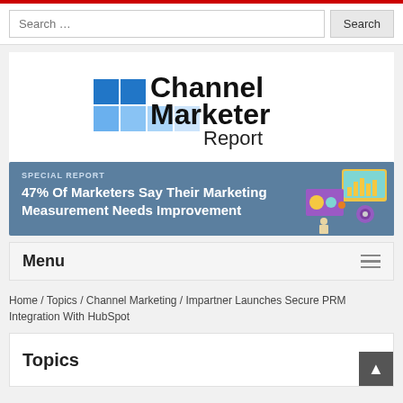Search ...
[Figure (logo): Channel Marketer Report logo with blue squares and bold text]
[Figure (infographic): Special Report banner: 47% Of Marketers Say Their Marketing Measurement Needs Improvement, with illustrated dashboard icons on the right]
Menu
Home / Topics / Channel Marketing / Impartner Launches Secure PRM Integration With HubSpot
Topics